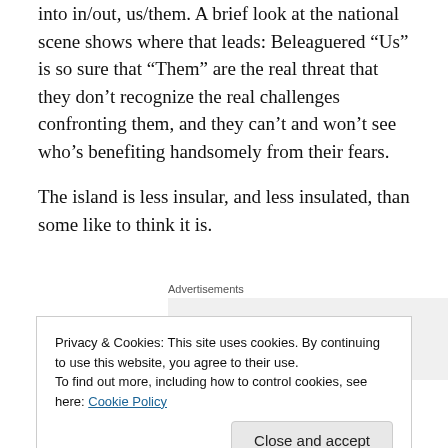into in/out, us/them. A brief look at the national scene shows where that leads: Beleaguered “Us” is so sure that “Them” are the real threat that they don’t recognize the real challenges confronting them, and they can’t and won’t see who’s benefiting handsomely from their fears.
The island is less insular, and less insulated, than some like to think it is.
Advertisements
[Figure (logo): P2 logo: black square icon with white rectangle outline inside, followed by bold text 'P2']
Privacy & Cookies: This site uses cookies. By continuing to use this website, you agree to their use.
To find out more, including how to control cookies, see here: Cookie Policy